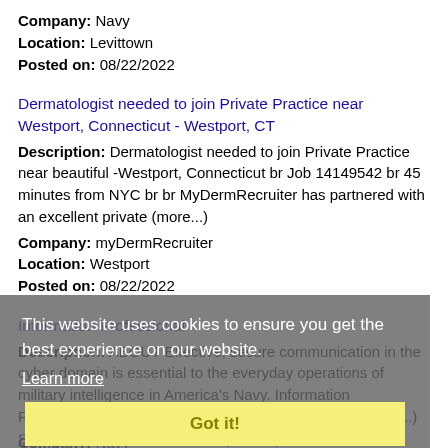Company: Navy
Location: Levittown
Posted on: 08/22/2022
Dermatologist needed to join Private Practice near Westport, Connecticut - Westport, CT
Description: Dermatologist needed to join Private Practice near beautiful -Westport, Connecticut br Job 14149542 br 45 minutes from NYC br br MyDermRecruiter has partnered with an excellent private (more...)
Company: myDermRecruiter
Location: Westport
Posted on: 08/22/2022
Information Professional
Description: ABOUT Effective, secure communication in the cyber domain is essential to the everyday operations of military intelligence in America's Navy. Information Professionals who oversee the seamless operation (more...)
Company: Navy
Location: Levittown
Posted on: 08/22/2022
This website uses cookies to ensure you get the best experience on our website.
Learn more
Got it!
Salary in Paterson, New Jersey Area | More details for